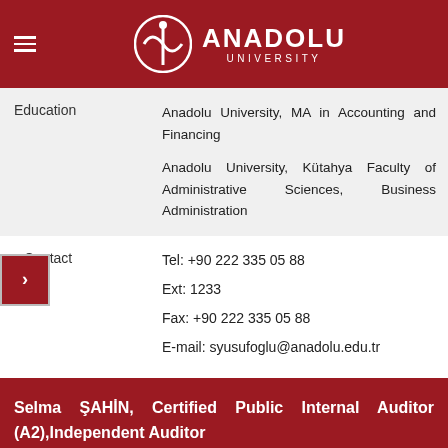ANADOLU UNIVERSITY
|  |  |
| --- | --- |
| Education | Anadolu University, MA in Accounting and Financing
Anadolu University, Kütahya Faculty of Administrative Sciences, Business Administration |
| Contact | Tel: +90 222 335 05 88
Ext: 1233
Fax: +90 222 335 05 88
E-mail: syusufoglu@anadolu.edu.tr |
Selma ŞAHİN, Certified Public Internal Auditor (A2),Independent Auditor